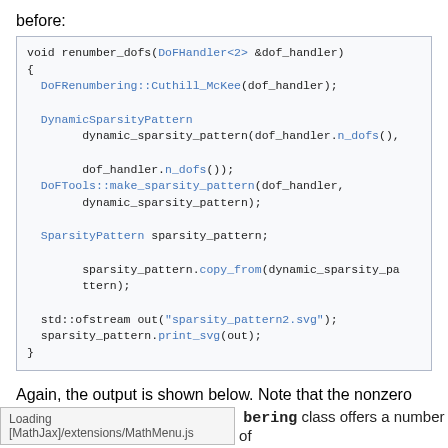before:
void renumber_dofs(DoFHandler<2> &dof_handler)
{
  DoFRenumbering::Cuthill_McKee(dof_handler);

  DynamicSparsityPattern
        dynamic_sparsity_pattern(dof_handler.n_dofs(),

        dof_handler.n_dofs());
  DoFTools::make_sparsity_pattern(dof_handler,
        dynamic_sparsity_pattern);

  SparsityPattern sparsity_pattern;

        sparsity_pattern.copy_from(dynamic_sparsity_pa
        ttern);

  std::ofstream out("sparsity_pattern2.svg");
  sparsity_pattern.print_svg(out);
}
Again, the output is shown below. Note that the nonzero entries are clustered far better around the diagonal than before. This effect is even more distinguished for larger matrices (the present one has 1260 rows and columns, but large matrices often have several 100,000s).
Loading [MathJax]/extensions/MathMenu.js   bering class offers a number of